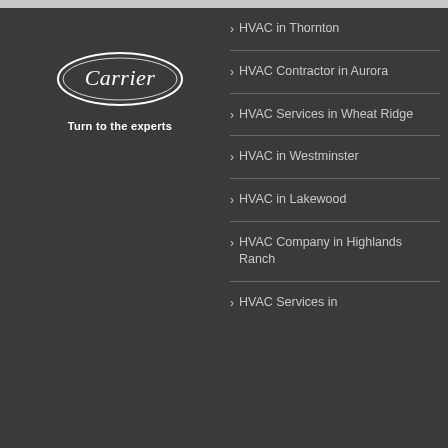[Figure (logo): Carrier logo — oval shape with 'Carrier' italic text inside]
Turn to the experts
HVAC in Thornton
HVAC Contractor in Aurora
HVAC Services in Wheat Ridge
HVAC in Westminster
HVAC in Lakewood
HVAC Company in Highlands Ranch
HVAC Services in